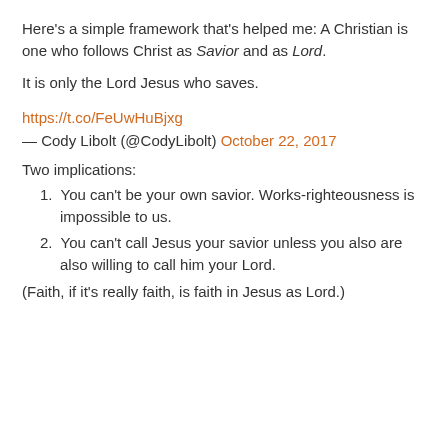Here's a simple framework that's helped me: A Christian is one who follows Christ as Savior and as Lord.
It is only the Lord Jesus who saves.
https://t.co/FeUwHuBjxg
— Cody Libolt (@CodyLibolt) October 22, 2017
Two implications:
1. You can't be your own savior. Works-righteousness is impossible to us.
2. You can't call Jesus your savior unless you also are also willing to call him your Lord.
(Faith, if it's really faith, is faith in Jesus as Lord.)